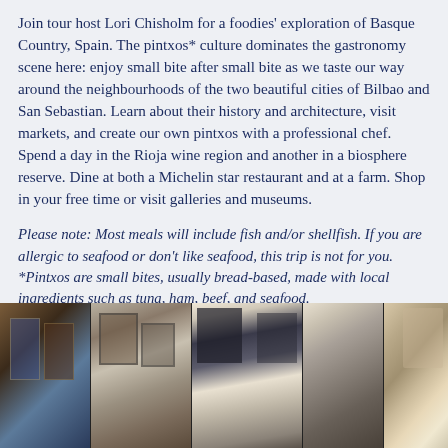Join tour host Lori Chisholm for a foodies' exploration of Basque Country, Spain. The pintxos* culture dominates the gastronomy scene here: enjoy small bite after small bite as we taste our way around the neighbourhoods of the two beautiful cities of Bilbao and San Sebastian. Learn about their history and architecture, visit markets, and create our own pintxos with a professional chef.  Spend a day in the Rioja wine region and another in a biosphere reserve. Dine at both a Michelin star restaurant and at a farm. Shop in your free time or visit galleries and museums.
Please note: Most meals will include fish and/or shellfish. If you are allergic to seafood or don't like seafood, this trip is not for you. *Pintxos are small bites, usually bread-based, made with local ingredients such as tuna, ham, beef, and seafood.
[Figure (photo): A strip of four photographs showing scenes from Basque Country: framed artwork/posters on a stone wall, interior of a restaurant or bar with framed pictures, a chalkboard menu on dark walls, and a woman with long hair in a restaurant setting.]